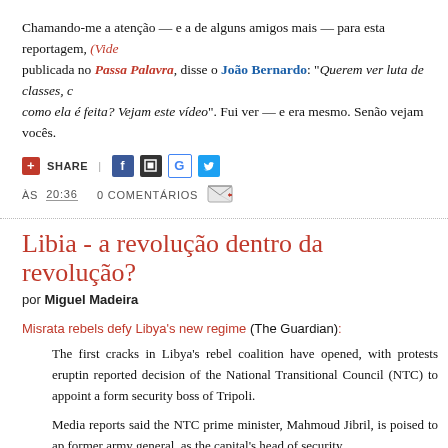Chamando-me a atenção — e a de alguns amigos mais — para esta reportagem, (Vide... publicada no Passa Palavra, disse o João Bernardo: "Querem ver luta de classes, como ela é feita? Vejam este vídeo". Fui ver — e era mesmo. Senão vejam vocês.
SHARE | [social icons] ÀS 20:36  0 COMENTÁRIOS [email icon]
Libia - a revolução dentro da revolução?
por Miguel Madeira
Misrata rebels defy Libya's new regime (The Guardian):
The first cracks in Libya's rebel coalition have opened, with protests erupting reported decision of the National Transitional Council (NTC) to appoint a form security boss of Tripoli.
Media reports said the NTC prime minister, Mahmoud Jibril, is poised to ap former army general, as the capital's head of security.